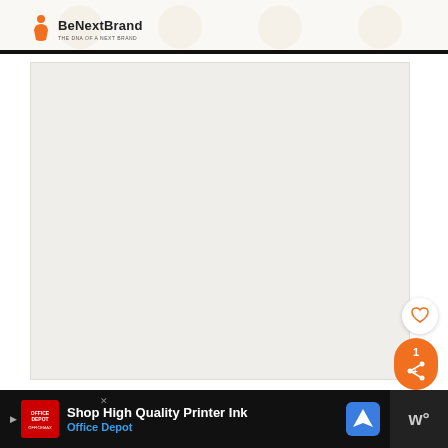BeNextBrand — THE DNA OF A NEXT BRAND
[Figure (screenshot): Large blank/light grey main content image area placeholder]
[Figure (infographic): Heart/like button (white circle with orange heart outline) and share button (orange rounded rectangle with count '1' and share icon)]
[Figure (infographic): What's Next panel: red pill-shaped banner with Nissan logo and text 'WHAT'S NEXT → List of 29+ Best Nissan Brand...']
[Figure (infographic): Advertisement banner: dark background, Office Depot ad 'Shop High Quality Printer Ink', red logo box, blue navigation icon, right panel with 'w°' text]